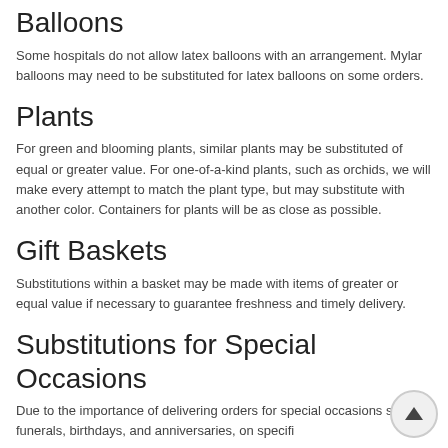Balloons
Some hospitals do not allow latex balloons with an arrangement. Mylar balloons may need to be substituted for latex balloons on some orders.
Plants
For green and blooming plants, similar plants may be substituted of equal or greater value. For one-of-a-kind plants, such as orchids, we will make every attempt to match the plant type, but may substitute with another color. Containers for plants will be as close as possible.
Gift Baskets
Substitutions within a basket may be made with items of greater or equal value if necessary to guarantee freshness and timely delivery.
Substitutions for Special Occasions
Due to the importance of delivering orders for special occasions such as funerals, birthdays, and anniversaries, on specifi…